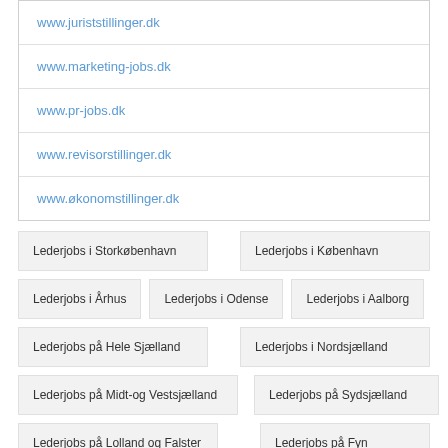www.juriststillinger.dk
www.marketing-jobs.dk
www.pr-jobs.dk
www.revisorstillinger.dk
www.økonomstillinger.dk
Lederjobs i Storkøbenhavn
Lederjobs i København
Lederjobs i Århus
Lederjobs i Odense
Lederjobs i Aalborg
Lederjobs på Hele Sjælland
Lederjobs i Nordsjælland
Lederjobs på Midt-og Vestsjælland
Lederjobs på Sydsjælland
Lederjobs på Lolland og Falster
Lederjobs på Fyn